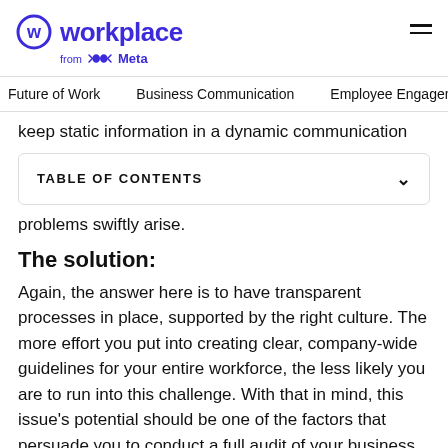Workplace from Meta
Future of Work   Business Communication   Employee Engagement
keep static information in a dynamic communication
TABLE OF CONTENTS
problems swiftly arise.
The solution:
Again, the answer here is to have transparent processes in place, supported by the right culture. The more effort you put into creating clear, company-wide guidelines for your entire workforce, the less likely you are to run into this challenge. With that in mind, this issue's potential should be one of the factors that persuade you to conduct a full audit of your business